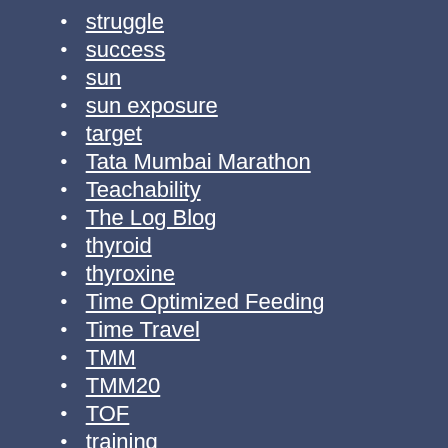struggle
success
sun
sun exposure
target
Tata Mumbai Marathon
Teachability
The Log Blog
thyroid
thyroxine
Time Optimized Feeding
Time Travel
TMM
TMM20
TOF
training